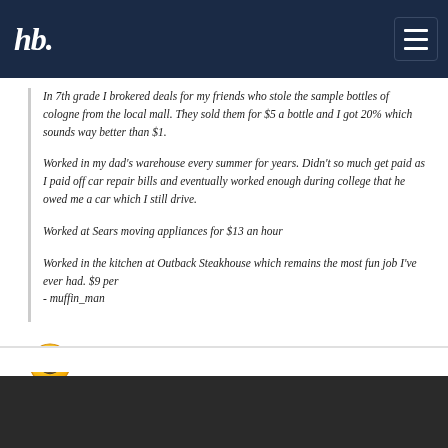hb.
In 7th grade I brokered deals for my friends who stole the sample bottles of cologne from the local mall. They sold them for $5 a bottle and I got 20% which sounds way better than $1.
Worked in my dad's warehouse every summer for years. Didn't so much get paid as I paid off car repair bills and eventually worked enough during college that he owed me a car which I still drive.
Worked at Sears moving appliances for $13 an hour
Worked in the kitchen at Outback Steakhouse which remains the most fun job I've ever had. $9 per
- muffin_man
[Figure (illustration): Yellow smiley face emoji with big smile]